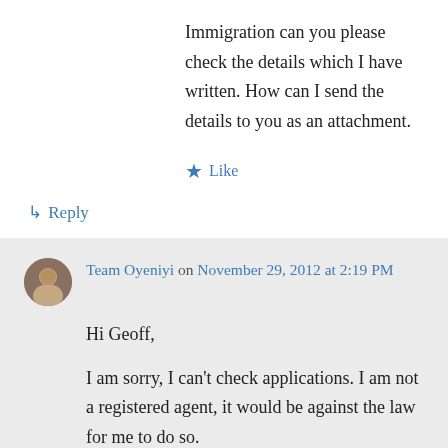Immigration can you please check the details which I have written. How can I send the details to you as an attachment.
★ Like
↳ Reply
Team Oyeniyi on November 29, 2012 at 2:19 PM
Hi Geoff,
I am sorry, I can't check applications. I am not a registered agent, it would be against the law for me to do so.
If you do not have an agent, my best advice